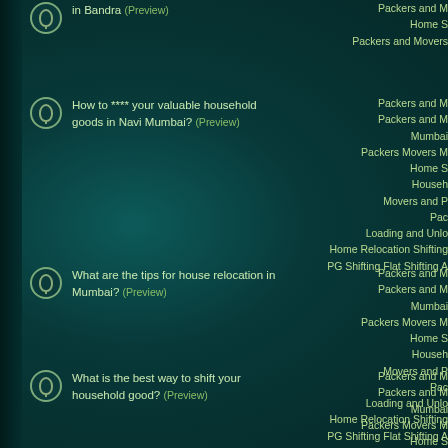in Bandra (Preview)
How to **** your valuable household goods in Navi Mumbai? (Preview)
What are the tips for house relocation in Mumbai? (Preview)
What is the best way to shift your household good? (Preview)
Packers and M... Home S... Packers and Movers...
Packers and M... Packers and M... Mumbai... Packers Movers M... Home S... Househ... Movers and P... Pac... Loading and Unlo... Home Relocation Shifting... PG Shifting Flat Shifting A...
Packers and M... Packers and M... Mumbai... Packers Movers M... Home S... Househ... Movers and P... Pac... Loading and Unlo... Home Relocation Shifting... PG Shifting Flat Shifting A...
Packers and M... Packers and M... Mumbai... Packers Movers M... Home S... Househ... Movers and P... Pac...